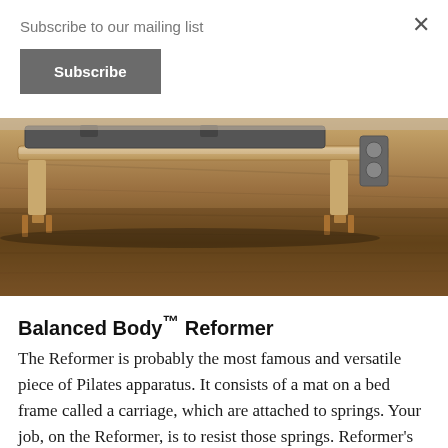Subscribe to our mailing list
Subscribe
[Figure (photo): Photo of a Balanced Body Pilates Reformer machine on a wood floor, showing the wooden frame, carriage, and hardware from a side angle]
Balanced Body™ Reformer
The Reformer is probably the most famous and versatile piece of Pilates apparatus. It consists of a mat on a bed frame called a carriage, which are attached to springs. Your job, on the Reformer, is to resist those springs. Reformer's headrest, shoulder blocks, foot bar, and straps give tactile feedback and assist you to perform